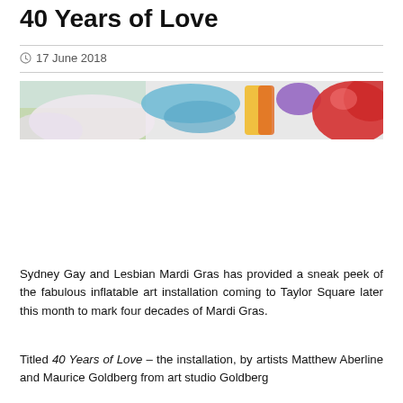40 Years of Love
17 June 2018
[Figure (photo): A wide horizontal photograph showing colorful inflatable art installation shapes in pink, red, yellow, purple and blue tones against a bright outdoor background with trees.]
Sydney Gay and Lesbian Mardi Gras has provided a sneak peek of the fabulous inflatable art installation coming to Taylor Square later this month to mark four decades of Mardi Gras.
Titled 40 Years of Love – the installation, by artists Matthew Aberline and Maurice Goldberg from art studio Goldberg